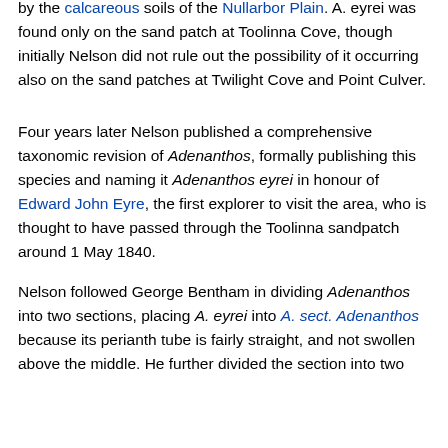by the calcareous soils of the Nullarbor Plain. A. eyrei was found only on the sand patch at Toolinna Cove, though initially Nelson did not rule out the possibility of it occurring also on the sand patches at Twilight Cove and Point Culver.
Four years later Nelson published a comprehensive taxonomic revision of Adenanthos, formally publishing this species and naming it Adenanthos eyrei in honour of Edward John Eyre, the first explorer to visit the area, who is thought to have passed through the Toolinna sandpatch around 1 May 1840.
Nelson followed George Bentham in dividing Adenanthos into two sections, placing A. eyrei into A. sect. Adenanthos because its perianth tube is fairly straight, and not swollen above the middle. He further divided the section into two